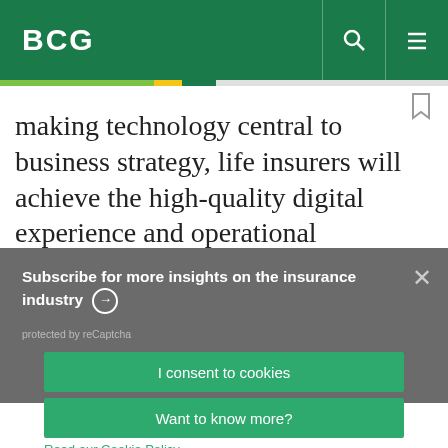BCG
making technology central to business strategy, life insurers will achieve the high-quality digital experience and operational efficiency they
Subscribe for more insights on the insurance industry
protected by reCaptcha
By using this site, you agree with our use of cookies.
I consent to cookies
Want to know more?
Read our Cookie Policy